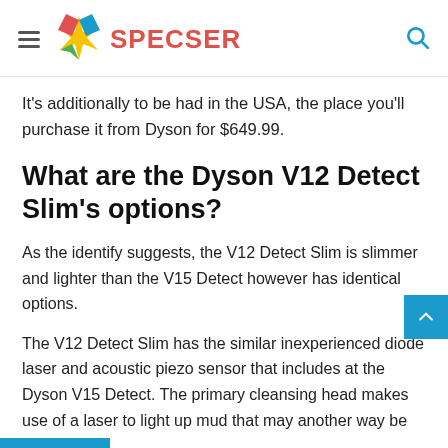SPECSER
It's additionally to be had in the USA, the place you'll purchase it from Dyson for $649.99.
What are the Dyson V12 Detect Slim's options?
As the identify suggests, the V12 Detect Slim is slimmer and lighter than the V15 Detect however has identical options.
The V12 Detect Slim has the similar inexperienced diode laser and acoustic piezo sensor that includes at the Dyson V15 Detect. The primary cleansing head makes use of a laser to light up mud that may another way be invisible.